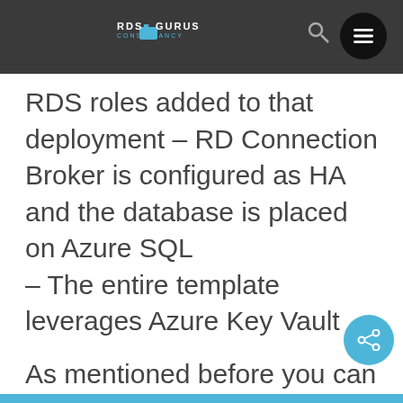RDS Gurus Consultancy
RDS roles added to that deployment – RD Connection Broker is configured as HA and the database is placed on Azure SQL
The entire template leverages Azure Key Vault
As mentioned before you can trigger ARM to start building the resources you defined in your JSON Template directly from Visual Studio. To do so, select the Deploy option and provide the parameters to connect to the correct subscription and Resource Group.